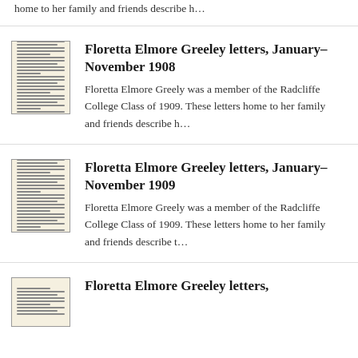home to her family and friends describe h…
Floretta Elmore Greeley letters, January–November 1908
Floretta Elmore Greely was a member of the Radcliffe College Class of 1909. These letters home to her family and friends describe h…
Floretta Elmore Greeley letters, January–November 1909
Floretta Elmore Greely was a member of the Radcliffe College Class of 1909. These letters home to her family and friends describe t…
Floretta Elmore Greeley letters,